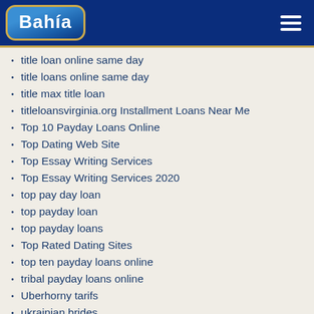[Figure (logo): Bahia logo on dark blue header background with hamburger menu icon]
title loan online same day
title loans online same day
title max title loan
titleloansvirginia.org Installment Loans Near Me
Top 10 Payday Loans Online
Top Dating Web Site
Top Essay Writing Services
Top Essay Writing Services 2020
top pay day loan
top payday loan
top payday loans
Top Rated Dating Sites
top ten payday loans online
tribal payday loans online
Uberhorny tarifs
ukrainian brides
ukrainian brides.ru